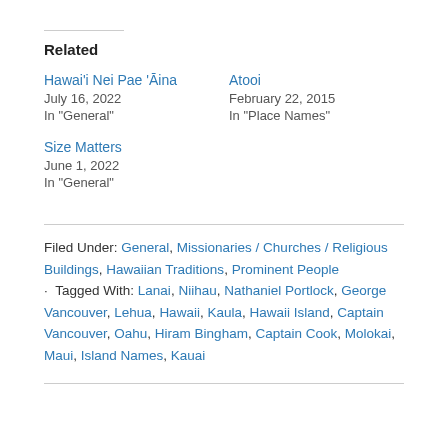Related
Hawai'i Nei Pae 'Āina
July 16, 2022
In "General"
Atooi
February 22, 2015
In "Place Names"
Size Matters
June 1, 2022
In "General"
Filed Under: General, Missionaries / Churches / Religious Buildings, Hawaiian Traditions, Prominent People · Tagged With: Lanai, Niihau, Nathaniel Portlock, George Vancouver, Lehua, Hawaii, Kaula, Hawaii Island, Captain Vancouver, Oahu, Hiram Bingham, Captain Cook, Molokai, Maui, Island Names, Kauai